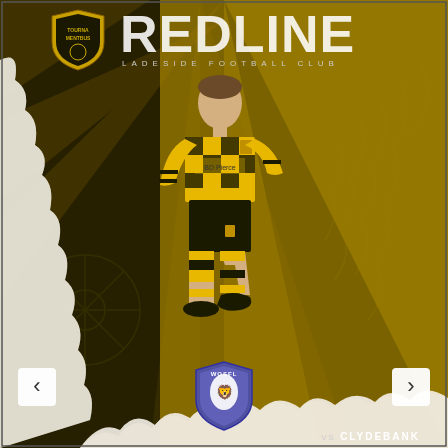[Figure (illustration): Football club programme cover for Ladeside Football Club vs Clydebank. Features a player in yellow and black checkered kit running, set against a gold and dark graphic background with geometric rays and wheat/flame motifs. A torn paper effect reveals the player. Includes club logo top left, REDLINE text top center, WOSFL badge at bottom center, navigation arrows bottom left and right.]
REDLINE
LADESIDE FOOTBALL CLUB
VS CLYDEBANK